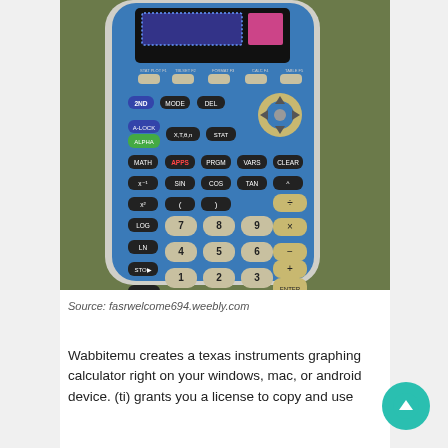[Figure (photo): Photo of a blue Texas Instruments TI-84 Plus graphing calculator against a green background, showing the full keypad with labeled function keys, number keys, and navigation buttons.]
Source: fasrwelcome694.weebly.com
Wabbitemu creates a texas instruments graphing calculator right on your windows, mac, or android device. (ti) grants you a license to copy and use